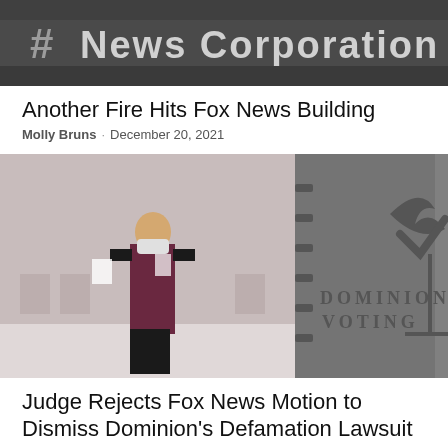[Figure (photo): News Corporation building sign with hash symbol logo]
Another Fire Hits Fox News Building
Molly Bruns · December 20, 2021
[Figure (photo): Woman wearing mask walking past Dominion Voting signage/equipment]
Judge Rejects Fox News Motion to Dismiss Dominion's Defamation Lawsuit
Editor 1 · December 20, 2021